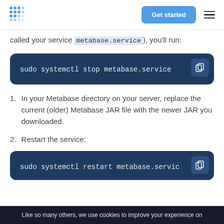Get started (navigation bar with logo and hamburger menu)
called your service metabase.service), you'll run:
[Figure (screenshot): Dark blue code block showing: sudo systemctl stop metabase.service]
1. In your Metabase directory on your server, replace the current (older) Metabase JAR file with the newer JAR you downloaded.
2. Restart the service:
[Figure (screenshot): Dark blue code block showing: sudo systemctl restart metabase.servic (truncated)]
Like so many others, we use cookies to improve your experience on